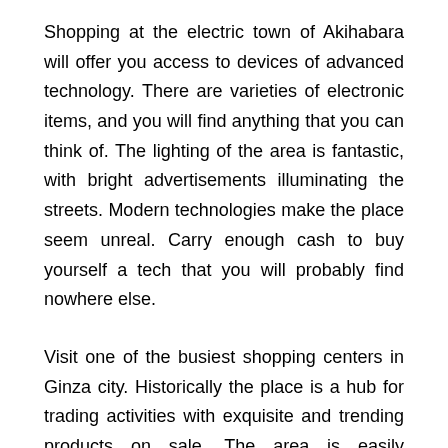Shopping at the electric town of Akihabara will offer you access to devices of advanced technology. There are varieties of electronic items, and you will find anything that you can think of. The lighting of the area is fantastic, with bright advertisements illuminating the streets. Modern technologies make the place seem unreal. Carry enough cash to buy yourself a tech that you will probably find nowhere else.
Visit one of the busiest shopping centers in Ginza city. Historically the place is a hub for trading activities with exquisite and trending products on sale. The area is easily accessible due to the network of roads from all corners. Life is moving fast at the shopping center. However, you can get a meal or drink at restaurants on the premises.
Visit Mount Fuji